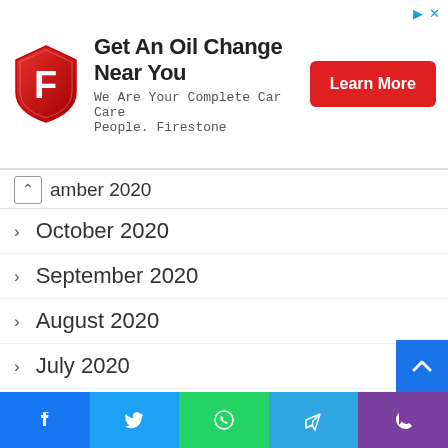[Figure (other): Firestone advertisement banner with red shield logo, text 'Get An Oil Change Near You', 'We Are Your Complete Car Care People. Firestone', and a red 'Learn More' button]
amber 2020 (collapsed header with up chevron)
October 2020
September 2020
August 2020
July 2020
May 2020
April 2020
March 2020
February 2020
January 2020
December 2019